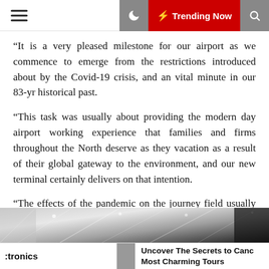Trending Now
“It is a very pleased milestone for our airport as we commence to emerge from the restrictions introduced about by the Covid-19 crisis, and an vital minute in our 83-yr historical past.
“This task was usually about providing the modern day airport working experience that families and firms throughout the North deserve as they vacation as a result of their global gateway to the environment, and our new terminal certainly delivers on that intention.
“The effects of the pandemic on the journey field usually means we are not able to quickly welcome as many customers and airlines into this fantastic new facility as we would have hoped.
[Figure (photo): Interior ceiling of an airport terminal building, showing diagonal structural elements and lighting]
etronics | Uncover The Secrets to Canc Most Charming Tours